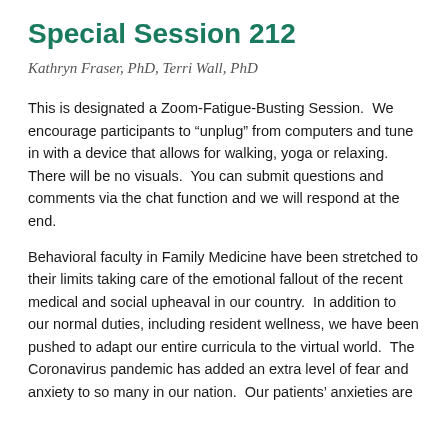Special Session 212
Kathryn Fraser, PhD, Terri Wall, PhD
This is designated a Zoom-Fatigue-Busting Session.  We encourage participants to “unplug” from computers and tune in with a device that allows for walking, yoga or relaxing.  There will be no visuals.  You can submit questions and comments via the chat function and we will respond at the end.
Behavioral faculty in Family Medicine have been stretched to their limits taking care of the emotional fallout of the recent medical and social upheaval in our country.  In addition to our normal duties, including resident wellness, we have been pushed to adapt our entire curricula to the virtual world.  The Coronavirus pandemic has added an extra level of fear and anxiety to so many in our nation.  Our patients’ anxieties are